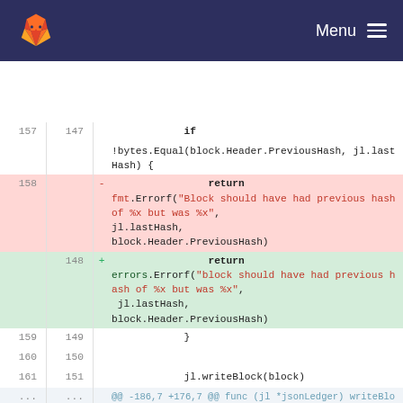GitLab Menu
[Figure (screenshot): GitLab code diff view showing changes to blockchain ledger Go code. Lines 157-161 and 148-151 visible, with a removed block (red) and added block (green) for error handling. Also shows hunk header and lines 186/176.]